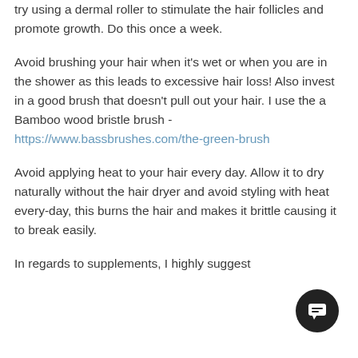try using a dermal roller to stimulate the hair follicles and promote growth. Do this once a week.
Avoid brushing your hair when it's wet or when you are in the shower as this leads to excessive hair loss! Also invest in a good brush that doesn't pull out your hair. I use the a Bamboo wood bristle brush - https://www.bassbrushes.com/the-green-brush
Avoid applying heat to your hair every day. Allow it to dry naturally without the hair dryer and avoid styling with heat every-day, this burns the hair and makes it brittle causing it to break easily.
In regards to supplements, I highly suggest